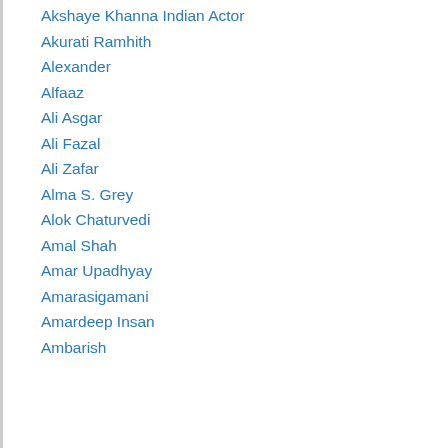Akshaye Khanna Indian Actor
Akurati Ramhith
Alexander
Alfaaz
Ali Asgar
Ali Fazal
Ali Zafar
Alma S. Grey
Alok Chaturvedi
Amal Shah
Amar Upadhyay
Amarasigamani
Amardeep Insan
Ambarish